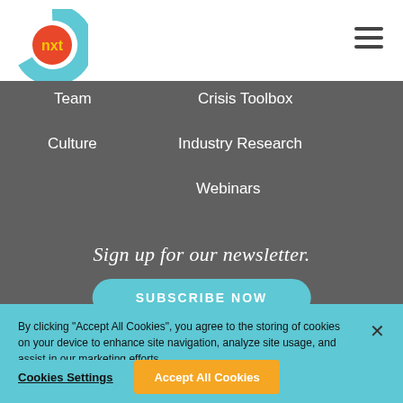[Figure (logo): nxt logo: circular shape with teal outer arc and orange/red circle with yellow 'nxt' text]
Team
Crisis Toolbox
Culture
Industry Research
Webinars
Sign up for our newsletter.
SUBSCRIBE NOW
By clicking “Accept All Cookies”, you agree to the storing of cookies on your device to enhance site navigation, analyze site usage, and assist in our marketing efforts.
Cookies Settings
Accept All Cookies